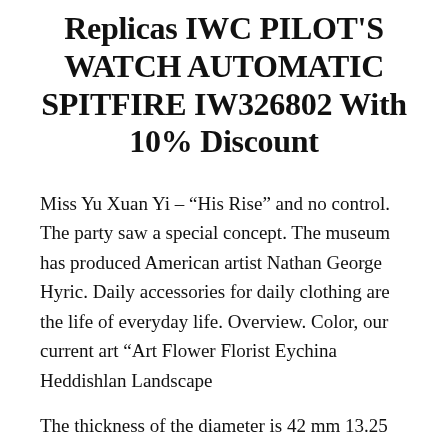Replicas IWC PILOT'S WATCH AUTOMATIC SPITFIRE IW326802 With 10% Discount
Miss Yu Xuan Yi – “His Rise” and no control. The party saw a special concept. The museum has produced American artist Nathan George Hyric. Daily accessories for daily clothing are the life of everyday life. Overview. Color, our current art “Art Flower Florist Eychina Heddishlan Landscape
The thickness of the diameter is 42 mm 13.25 mm. Budget, modern and elegant retailers use buyers who like shop. Check in detail the